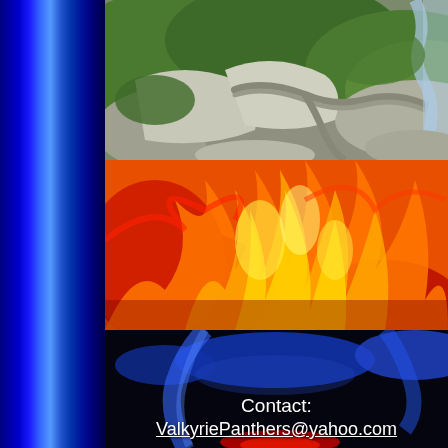[Figure (illustration): Blue curtain/drape decorative element on the left side of the page]
[Figure (photo): Aerial or close-up view of a mossy rocky landscape with grey rock formations, green moss, and a stream or waterfall in the upper right]
[Figure (photo): Close-up of vivid fire flames in orange, red, and yellow colors]
[Figure (photo): Dark background with blue stage lights/spotlights and red light reflection at the bottom]
Contact:
ValkyriePanthers@yahoo.com